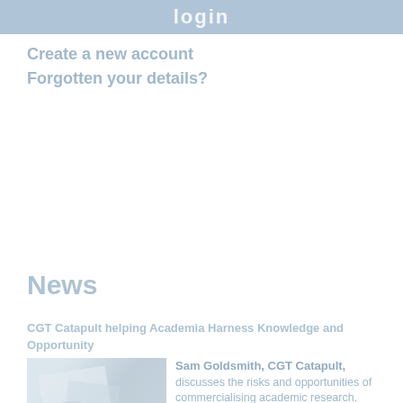login
Create a new account
Forgotten your details?
News
CGT Catapult helping Academia Harness Knowledge and Opportunity
[Figure (photo): Person holding papers or documents, related to an academic or research context]
Sam Goldsmith, CGT Catapult, discusses the risks and opportunities of commercialising academic research.